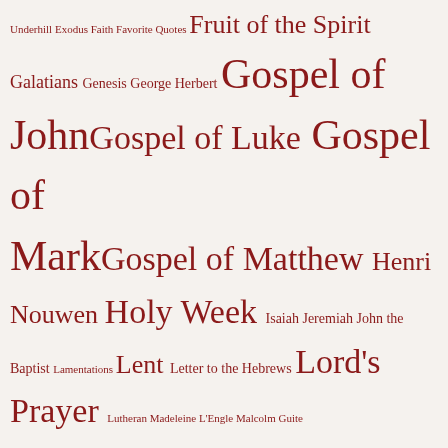Underhill Exodus Faith Favorite Quotes Fruit of the Spirit Galatians Genesis George Herbert Gospel of John Gospel of Luke Gospel of Mark Gospel of Matthew Henri Nouwen Holy Week Isaiah Jeremiah John the Baptist Lamentations Lent Letter to the Hebrews Lord's Prayer Lutheran Madeleine L'Engle Malcolm Guite Martin Luther Martin Luther King Jr. Mary Oliver Maundy Thursday Nonet Palm Sunday Philippians Pilgrimage Prayer Psalms Racial Reconciliation Reformation Resurrection Romans